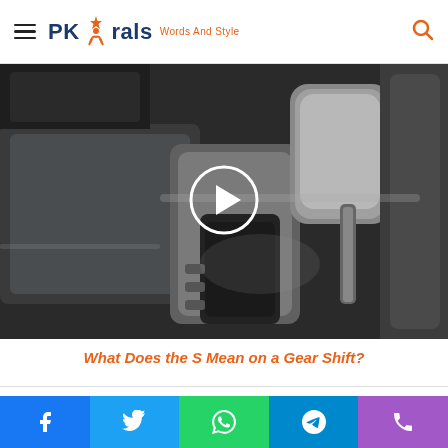PK Virals - Words And Style
[Figure (photo): Close-up photo of a car automatic gear shift/transmission console, with a white circular play button overlay indicating a video thumbnail.]
What Does the S Mean on a Gear Shift?
Related Articles